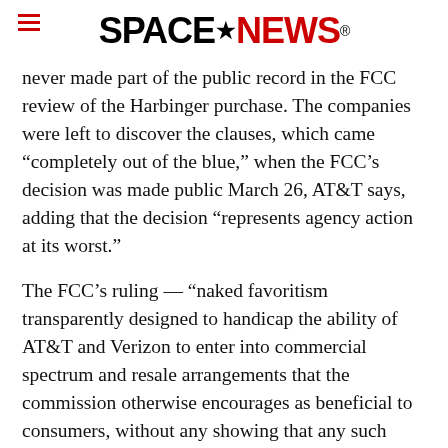SPACENEWS
never made part of the public record in the FCC review of the Harbinger purchase. The companies were left to discover the clauses, which came “completely out of the blue,” when the FCC’s decision was made public March 26, AT&T says, adding that the decision “represents agency action at its worst.”
The FCC’s ruling — “naked favoritism transparently designed to handicap the ability of AT&T and Verizon to enter into commercial spectrum and resale arrangements that the commission otherwise encourages as beneficial to consumers, without any showing that any such transaction could harm consumers — cannot stand,” AT&T says [emphasis in original]. The FCC decision does not mention AT&T or Verizon by name. Instead, it